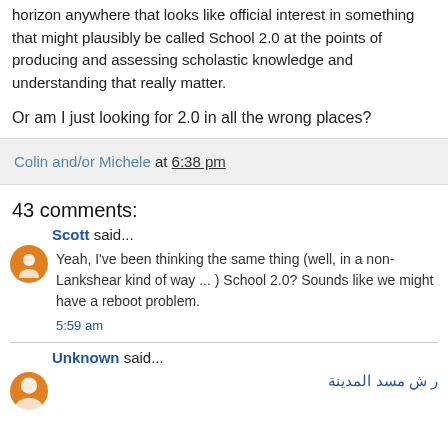horizon anywhere that looks like official interest in something that might plausibly be called School 2.0 at the points of producing and assessing scholastic knowledge and understanding that really matter.
Or am I just looking for 2.0 in all the wrong places?
Colin and/or Michele at 6:38 pm
43 comments:
Scott said...
Yeah, I've been thinking the same thing (well, in a non-Lankshear kind of way ... ) School 2.0? Sounds like we might have a reboot problem.
5:59 am
Unknown said...
ر ش مسد المدينة